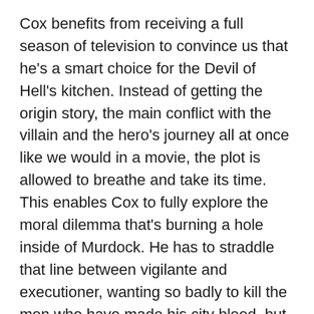Cox benefits from receiving a full season of television to convince us that he's a smart choice for the Devil of Hell's kitchen. Instead of getting the origin story, the main conflict with the villain and the hero's journey all at once like we would in a movie, the plot is allowed to breathe and take its time. This enables Cox to fully explore the moral dilemma that's burning a hole inside of Murdock. He has to straddle that line between vigilante and executioner, wanting so badly to kill the men who have made his city bleed, but knowing he has a higher purpose and can't succumb to those vengeful desires. It's an unexpectedly solid performance, hopefully one that will make Cox a star.
Daredevil doesn't flinch at violence, nor does it shy away from mature themes. As Murdock's battle against the underbelly of Hell's Kitchen escalates in its physicality, it